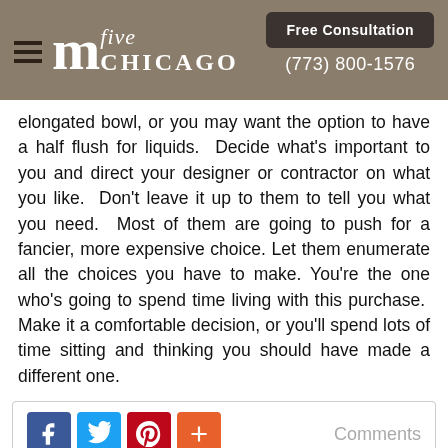m five CHICAGO | Free Consultation | (773) 800-1576
elongated bowl, or you may want the option to have a half flush for liquids.  Decide what's important to you and direct your designer or contractor on what you like.  Don't leave it up to them to tell you what you need.  Most of them are going to push for a fancier, more expensive choice. Let them enumerate all the choices you have to make. You're the one who's going to spend time living with this purchase.  Make it a comfortable decision, or you'll spend lots of time sitting and thinking you should have made a different one.
[Figure (infographic): Social sharing buttons: Facebook (blue), Twitter (light blue), Pinterest (red), Plus (orange). Comments link on the right.]